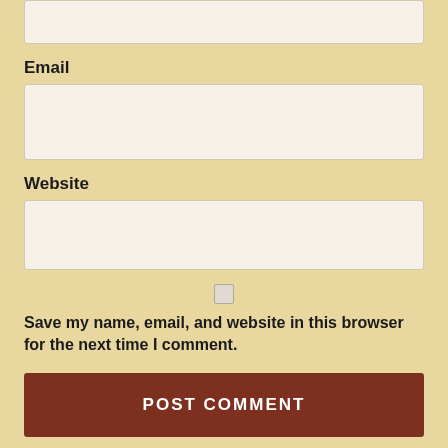Email
[Figure (screenshot): Email input text field (empty white box)]
Website
[Figure (screenshot): Website input text field (empty white box)]
Save my name, email, and website in this browser for the next time I comment.
POST COMMENT
Notify me of new comments via email.